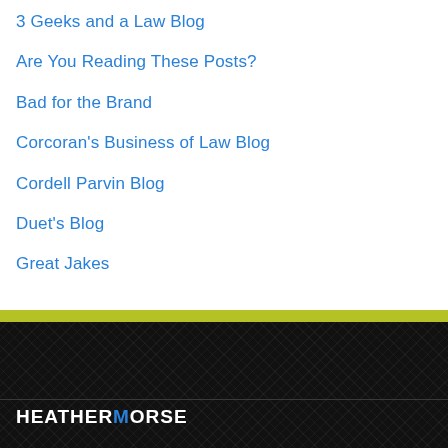3 Geeks and a Law Blog
Are You Reading These Posts?
Bad for the Brand
Corcoran's Business of Law Blog
Cordell Parvin Blog
Duet's Blog
Great Jakes
THE LEGAL WATERCOOLER
HEATHERMORSE